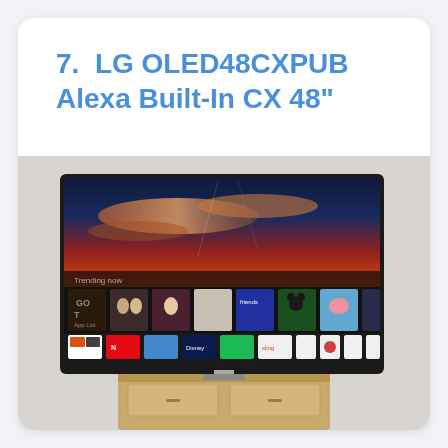7.  LG OLED48CXPUB Alexa Built-In CX 48"
[Figure (photo): LG OLED48CXPUB smart TV displaying a streaming interface with movie/show thumbnails and app icons, mounted on a wooden TV stand. The screen shows a dark dramatic sky background with a row of content thumbnails and streaming app icons at the bottom.]